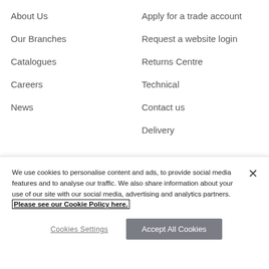About Us
Our Branches
Catalogues
Careers
News
Apply for a trade account
Request a website login
Returns Centre
Technical
Contact us
Delivery
Info
Get In Touch
We use cookies to personalise content and ads, to provide social media features and to analyse our traffic. We also share information about your use of our site with our social media, advertising and analytics partners. Please see our Cookie Policy here.